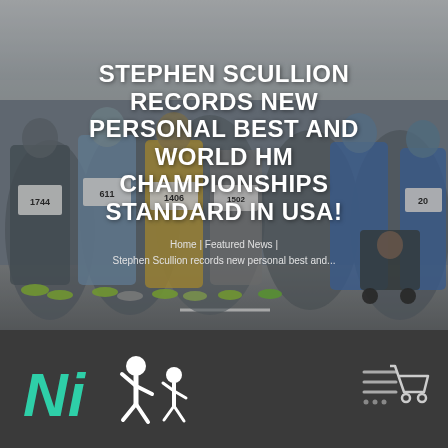[Figure (photo): Large crowd of runners at the start line of a road race, wearing numbered bibs (1744, 611, 1406, 1502, 20, etc.), photographed outdoors on a overcast day.]
STEPHEN SCULLION RECORDS NEW PERSONAL BEST AND WORLD HM CHAMPIONSHIPS STANDARD IN USA!
Home | Featured News | Stephen Scullion records new personal best and...
[Figure (logo): NI Athletics logo: italic green 'Ni' text with a white running figure icon]
[Figure (logo): Shopping cart icon in white/grey on dark background]